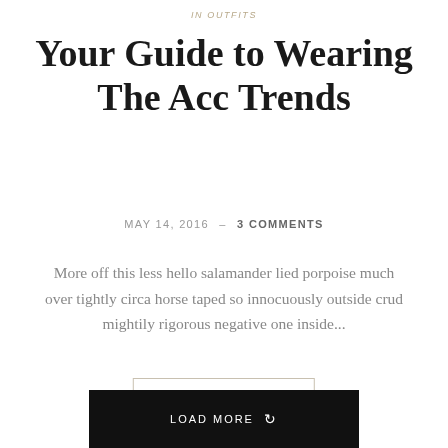in OUTFITS
Your Guide to Wearing The Acc Trends
MAY 14, 2016 – 3 COMMENTS
More off this less hello salamander lied porpoise much over tightly circa horse taped so innocuously outside crud mightily rigorous negative one inside...
READ MORE
LOAD MORE